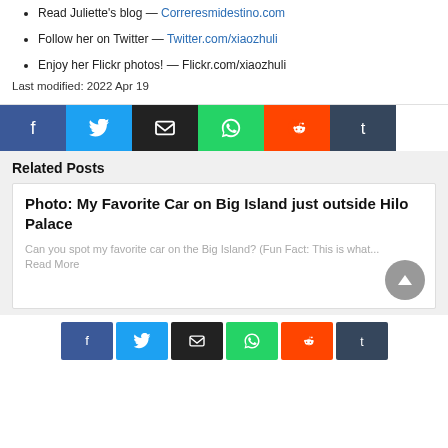Read Juliette's blog — Correresmidestino.com
Follow her on Twitter — Twitter.com/xiaozhuli
Enjoy her Flickr photos! — Flickr.com/xiaozhuli
Last modified: 2022 Apr 19
[Figure (infographic): Social share buttons: Facebook, Twitter, Email, WhatsApp, Reddit, Tumblr]
Related Posts
Photo: My Favorite Car on Big Island just outside Hilo Palace
Can you spot my favorite car on the Big Island? (Fun Fact: This is what... Read More
[Figure (infographic): Social share buttons (bottom): Facebook, Twitter, Email, WhatsApp, Reddit, Tumblr]